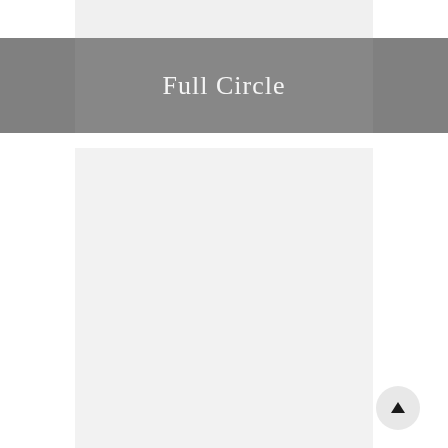Full Circle
[Figure (other): Light gray rectangular content panel below the title bar]
[Figure (other): Circular up-arrow navigation button in the bottom right corner]